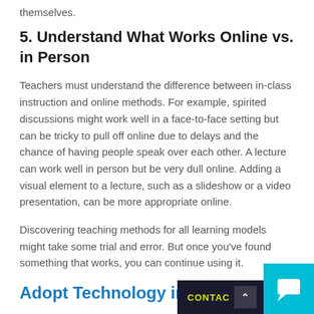themselves.
5. Understand What Works Online vs. in Person
Teachers must understand the difference between in-class instruction and online methods. For example, spirited discussions might work well in a face-to-face setting but can be tricky to pull off online due to delays and the chance of having people speak over each other. A lecture can work well in person but be very dull online. Adding a visual element to a lecture, such as a slideshow or a video presentation, can be more appropriate online.
Discovering teaching methods for all learning models might take some trial and error. But once you've found something that works, you can continue using it.
Adopt Technology in Your Cl...